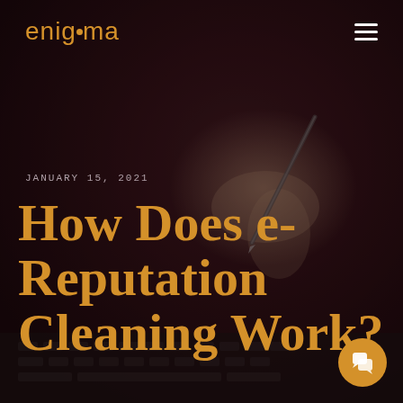[Figure (photo): Dark background photo of a hand holding a pencil/stylus over a laptop keyboard, with dark maroon/brown overlay tones]
enigma
JANUARY 15, 2021
How Does e-Reputation Cleaning Work?